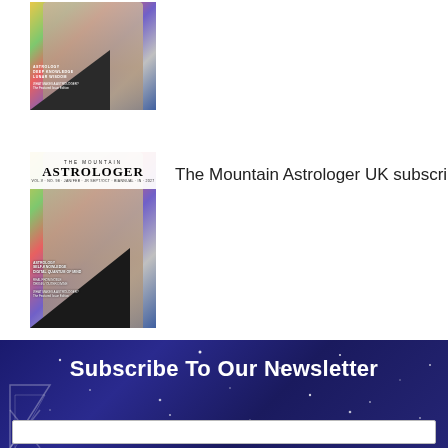[Figure (photo): Magazine cover thumbnail of The Mountain Astrologer showing a sculpted figure torso with colorful geometric background]
[Figure (photo): Larger magazine cover of The Mountain Astrologer with masthead text 'THE MOUNTAIN ASTROLOGER', showing sculpted figure torso with colorful background and dark triangular shapes]
The Mountain Astrologer UK subscription
Subscribe To Our Newsletter